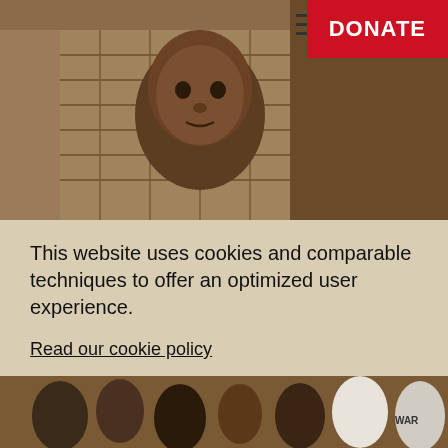[Figure (photo): Photo of a young African boy looking at the camera, standing in front of a mud brick wall structure]
This website uses cookies and comparable techniques to offer an optimized user experience.
Read our cookie policy
Change preferences
Disallow
Allow cookies
[Figure (photo): Partial photo of a group of children, one wearing a shirt with WAR text visible]